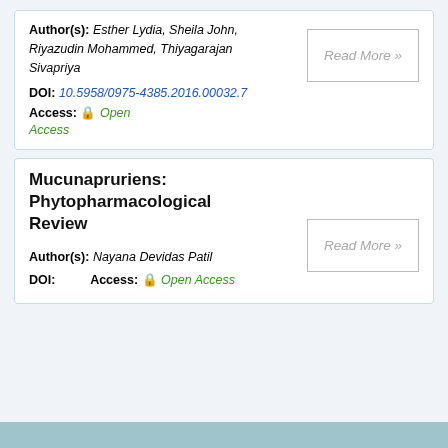Author(s): Esther Lydia, Sheila John, Riyazudin Mohammed, Thiyagarajan Sivapriya
DOI: 10.5958/0975-4385.2016.00032.7  Access: Open Access
Mucunapruriens: Phytopharmacological Review
Author(s): Nayana Devidas Patil
DOI:   Access: Open Access